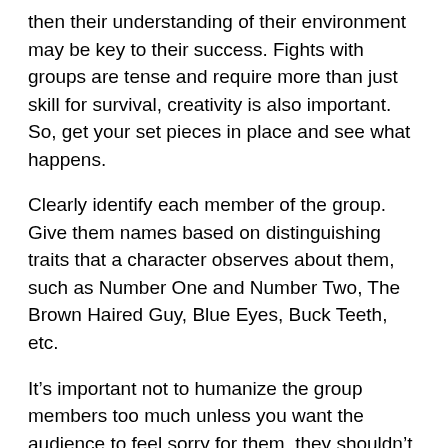then their understanding of their environment may be key to their success. Fights with groups are tense and require more than just skill for survival, creativity is also important. So, get your set pieces in place and see what happens.
Clearly identify each member of the group. Give them names based on distinguishing traits that a character observes about them, such as Number One and Number Two, The Brown Haired Guy, Blue Eyes, Buck Teeth, etc.
It's important not to humanize the group members too much unless you want the audience to feel sorry for them, they shouldn't be clearly evil, but they need to remain menacing. Knowing a character's name humanizes them, so it's not just a question of description, it's a question of how much. Writing violence requires walking a careful line with the audience between just enough and too much.  Managing the emotions that your story evokes is important; too much makes it difficult to sympathize with the hero.